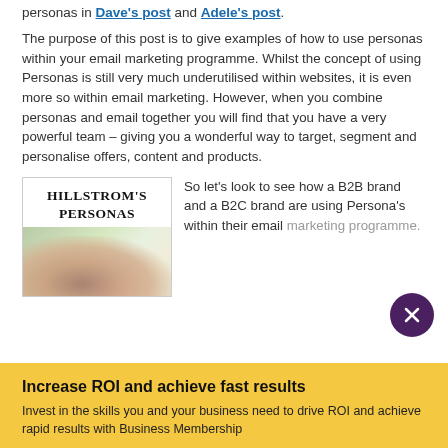personas in Dave's post and Adele's post.
The purpose of this post is to give examples of how to use personas within your email marketing programme. Whilst the concept of using Personas is still very much underutilised within websites, it is even more so within email marketing. However, when you combine personas and email together you will find that you have a very powerful team – giving you a wonderful way to target, segment and personalise offers, content and products.
[Figure (illustration): Book cover for Hillstrom's Personas with a woman's face in soft focus background]
So let's look to see how a B2B brand and a B2C brand are using Persona's within their email marketing programme.
Increase ROI and achieve fast results
Invest in the skills you and your business need to drive ROI and achieve rapid results with Business Membership